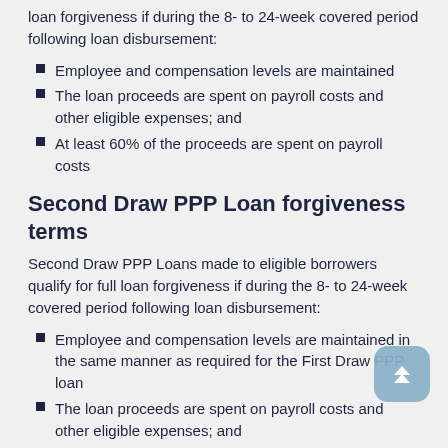loan forgiveness if during the 8- to 24-week covered period following loan disbursement:
Employee and compensation levels are maintained
The loan proceeds are spent on payroll costs and other eligible expenses; and
At least 60% of the proceeds are spent on payroll costs
Second Draw PPP Loan forgiveness terms
Second Draw PPP Loans made to eligible borrowers qualify for full loan forgiveness if during the 8- to 24-week covered period following loan disbursement:
Employee and compensation levels are maintained in the same manner as required for the First Draw PPP loan
The loan proceeds are spent on payroll costs and other eligible expenses; and
At least 60% of the proceeds are spent on payroll costs
How and when to apply for loan